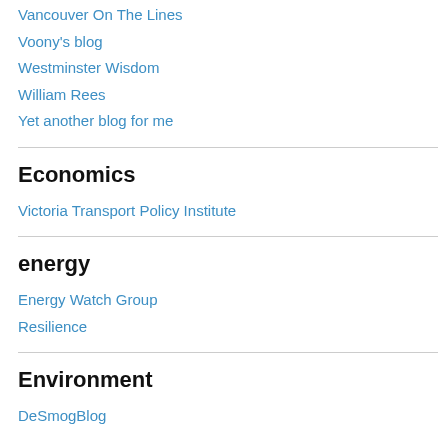Vancouver On The Lines
Voony's blog
Westminster Wisdom
William Rees
Yet another blog for me
Economics
Victoria Transport Policy Institute
energy
Energy Watch Group
Resilience
Environment
DeSmogBlog